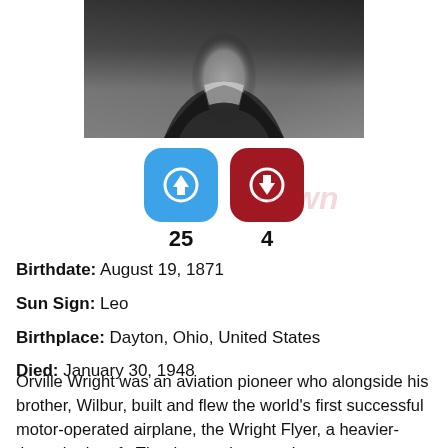[Figure (photo): Black and white photograph of Orville Wright, cropped to show upper body and face, wearing a suit]
[Figure (infographic): Blue upvote button with up arrow icon showing 25 votes, and dark red downvote button with down arrow icon showing 4 votes]
Birthdate: August 19, 1871
Sun Sign: Leo
Birthplace: Dayton, Ohio, United States
Died: January 30, 1948
Orville Wright was an aviation pioneer who alongside his brother, Wilbur, built and flew the world's first successful motor-operated airplane, the Wright Flyer, a heavier-than-air aircraft. The three-axis control system developed by the brothers remains standard on fixed-wing aircraft of all kinds. Orville also served on the board of the National